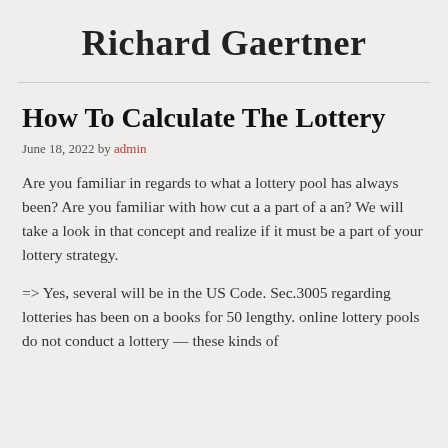Richard Gaertner
How To Calculate The Lottery
June 18, 2022 by admin
Are you familiar in regards to what a lottery pool has always been? Are you familiar with how cut a a part of a an? We will take a look in that concept and realize if it must be a part of your lottery strategy.
=> Yes, several will be in the US Code. Sec.3005 regarding lotteries has been on a books for 50 lengthy. online lottery pools do not conduct a lottery — these kinds of